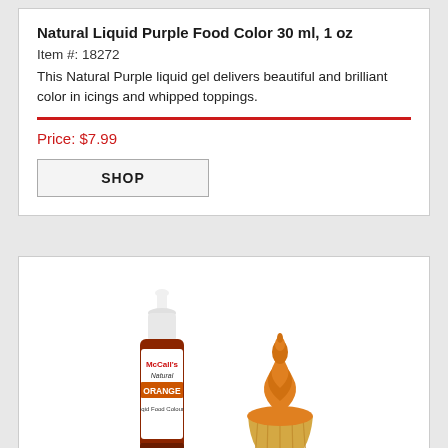Natural Liquid Purple Food Color 30 ml, 1 oz
Item #: 18272
This Natural Purple liquid gel delivers beautiful and brilliant color in icings and whipped toppings.
Price: $7.99
SHOP
[Figure (photo): McCall's Natural Orange liquid food colour bottle next to an orange-frosted cupcake]